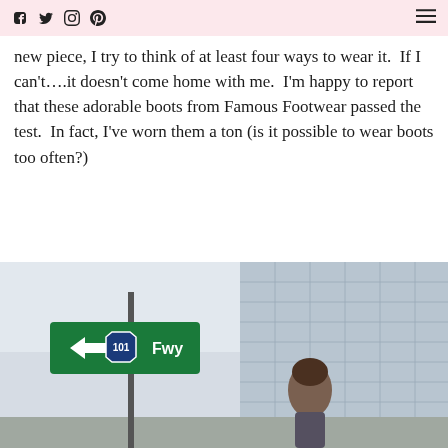Social media icons and hamburger menu
new piece, I try to think of at least four ways to wear it.  If I can't….it doesn't come home with me.  I'm happy to report that these adorable boots from Famous Footwear passed the test.  In fact, I've worn them a ton (is it possible to wear boots too often?)
[Figure (photo): Woman walking on a city street with a green highway sign showing '← 101 Fwy' and a modern glass building in the background]